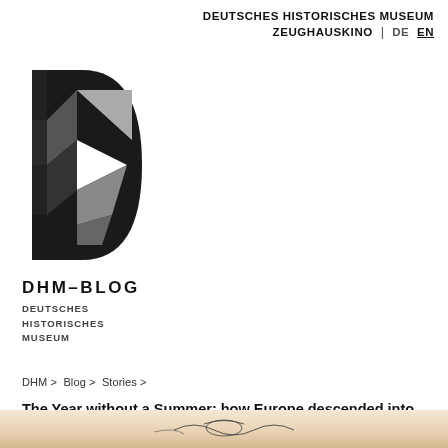DEUTSCHES HISTORISCHES MUSEUM ZEUGHAUSKINO | DE EN
[Figure (logo): DHM logo: geometric D shape in black and grey tones, faceted polygonal design]
DHM-BLOG
DEUTSCHES HISTORISCHES MUSEUM
DHM > Blog > Stories >
The Year without a Summer: how Europe descended into climate chaos
[Figure (photo): Partial view of a historical illustration or document with decorative script, warm beige/tan tones]